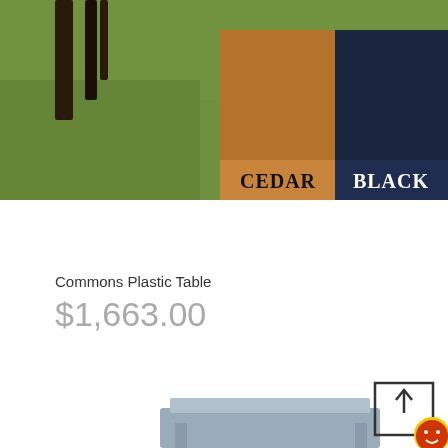[Figure (photo): Product color swatches on grass background showing two fabric/material color options labeled CEDAR (brown/tan square) and BLACK (dark navy square), with furniture legs visible at top left corner.]
Commons Plastic Table
$1,663.00
[Figure (photo): Partial product image showing a gray plastic table from a low angle, with a share/upload icon (arrow pointing up in a box) and a red circular button in the bottom right corner.]